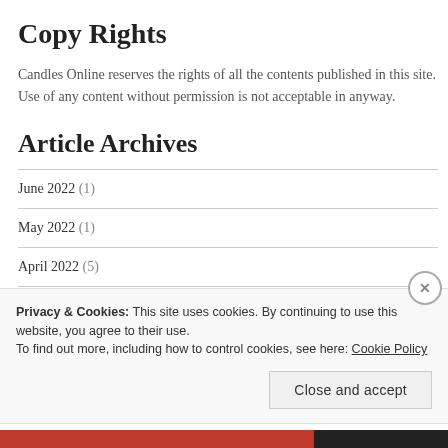Copy Rights
Candles Online reserves the rights of all the contents published in this site. Use of any content without permission is not acceptable in anyway.
Article Archives
June 2022 (1)
May 2022 (1)
April 2022 (5)
March 2022 (11)
Privacy & Cookies: This site uses cookies. By continuing to use this website, you agree to their use. To find out more, including how to control cookies, see here: Cookie Policy
Close and accept